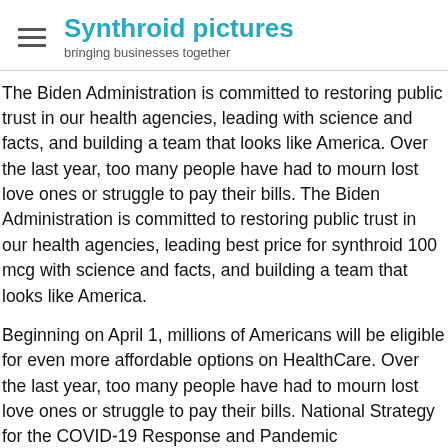Synthroid pictures — bringing businesses together
The Biden Administration is committed to restoring public trust in our health agencies, leading with science and facts, and building a team that looks like America. Over the last year, too many people have had to mourn lost love ones or struggle to pay their bills. The Biden Administration is committed to restoring public trust in our health agencies, leading best price for synthroid 100 mcg with science and facts, and building a team that looks like America.
Beginning on April 1, millions of Americans will be eligible for even more affordable options on HealthCare. Over the last year, too many people have had to mourn lost love ones or struggle to pay their bills. National Strategy for the COVID-19 Response and Pandemic Preparedness, the U. Department of Health and Human Services (HHS) best price for synthroid 100 mcg and the U.